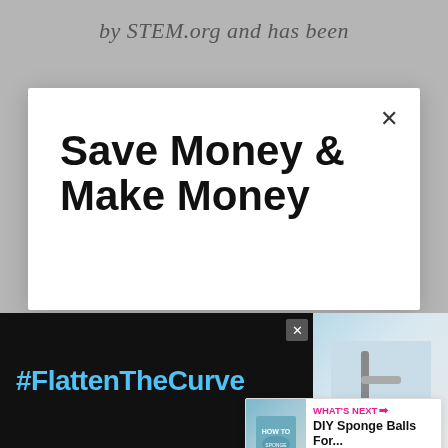by STEM.org and has been
Save Money & Make Money
Sign up now to see my favorite apps to make money & save money
Email address
Get It Now
[Figure (screenshot): WHAT'S NEXT arrow DIY Sponge Balls For... promotional widget with thumbnail image]
[Figure (screenshot): #FlattenTheCurve ad banner with faucet/handwashing image on dark background]